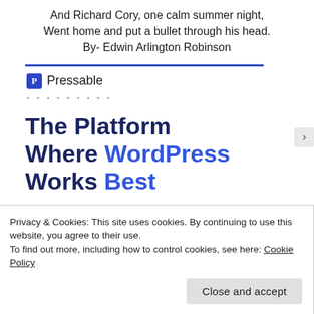And Richard Cory, one calm summer night,
Went home and put a bullet through his head.
By- Edwin Arlington Robinson
[Figure (other): Blue horizontal rule divider]
Pressable
· · · · · · · · ·
The Platform Where WordPress Works Best
Privacy & Cookies: This site uses cookies. By continuing to use this website, you agree to their use.
To find out more, including how to control cookies, see here: Cookie Policy
Close and accept